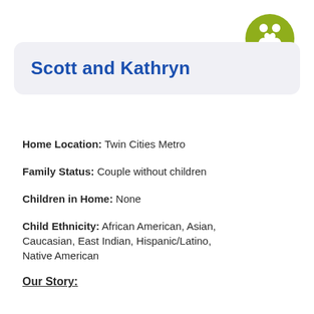[Figure (illustration): Olive green circle icon with two adult figures and a heart symbol, representing a couple]
Scott and Kathryn
Home Location: Twin Cities Metro
Family Status: Couple without children
Children in Home: None
Child Ethnicity: African American, Asian, Caucasian, East Indian, Hispanic/Latino, Native American
Our Story: